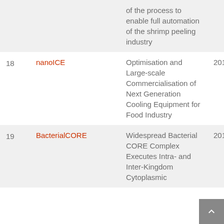| # | Name | Description | Year |
| --- | --- | --- | --- |
|  |  | of the process to enable full automation of the shrimp peeling industry |  |
| 18 | nanoICE | Optimisation and Large-scale Commercialisation of Next Generation Cooling Equipment for Food Industry | 201 |
| 19 | BacterialCORE | Widespread Bacterial CORE Complex Executes Intra- and Inter-Kingdom Cytoplasmic | 201 |